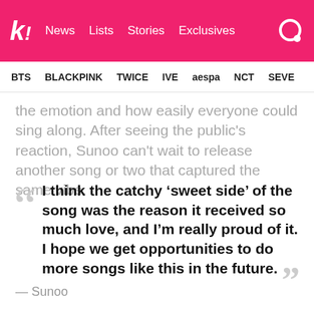k! News Lists Stories Exclusives
BTS BLACKPINK TWICE IVE aespa NCT SEVE
the emotion and how easily everyone could sing along. After seeing the public's reaction, Sunoo can't wait to release another song or two that captured the same vibe.
I think the catchy ‘sweet side’ of the song was the reason it received so much love, and I’m really proud of it. I hope we get opportunities to do more songs like this in the future.
— Sunoo